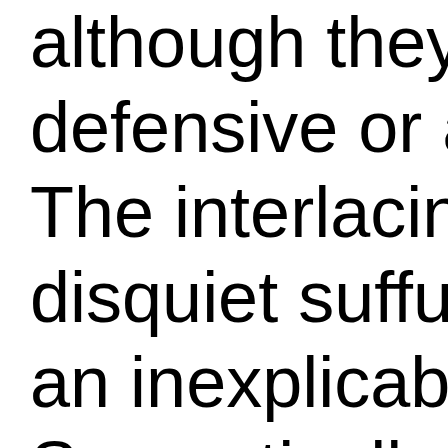although they actua defensive or aggres The interlacing of in disquiet suffuses th an inexplicable cha Semantically related close-cropped photo reveal a hand pointi the body. To study t